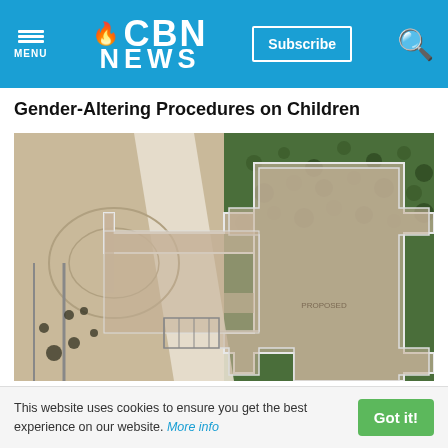CBN NEWS
Gender-Altering Procedures on Children
[Figure (photo): Aerial satellite view of land with a cross-shaped building outline overlaid on a field, bordered by a beach/shoreline and green trees. The cross-shaped structure is outlined in white with a tan/beige fill pattern.]
This website uses cookies to ensure you get the best experience on our website. More info